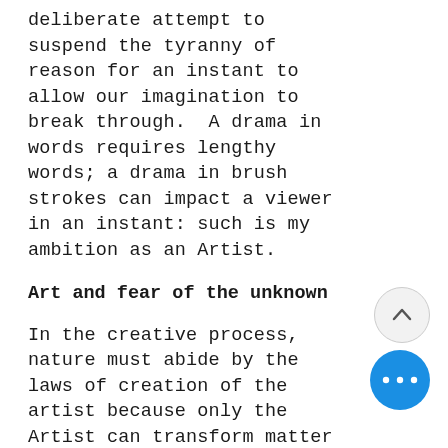deliberate attempt to suspend the tyranny of reason for an instant to allow our imagination to break through. A drama in words requires lengthy words; a drama in brush strokes can impact a viewer in an instant: such is my ambition as an Artist.
Art and fear of the unknown
In the creative process, nature must abide by the laws of creation of the artist because only the Artist can transform matter through the clarity of his vision. It is necessary to prevail over fear of the unknown for the product emerge, as fear usually directs us to trodden paths